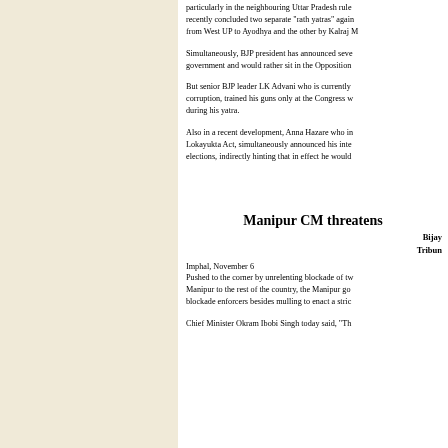particularly in the neighbouring Uttar Pradesh rule... recently concluded two separate "rath yatras" again... from West UP to Ayodhya and the other by Kalraj M...
Simultaneously, BJP president has announced seve... government and would rather sit in the Opposition...
But senior BJP leader LK Advani who is currently... corruption, trained his guns only at the Congress w... during his yatra.
Also in a recent development, Anna Hazare who in... Lokayukta Act, simultaneously announced his inte... elections, indirectly hinting that in effect he would...
Manipur CM threatens
Bijay
Tribun
Imphal, November 6
Pushed to the corner by unrelenting blockade of tw... Manipur to the rest of the country, the Manipur go... blockade enforcers besides mulling to enact a stric...
Chief Minister Okram Ibobi Singh today said, "Th...